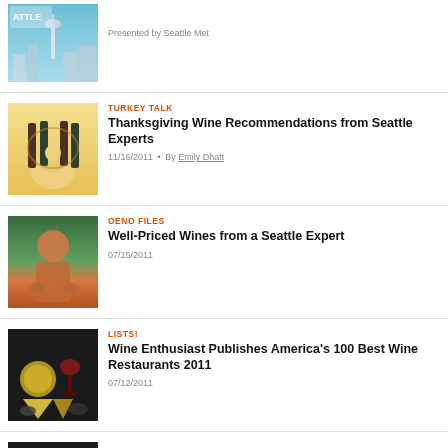[Figure (photo): Seattle skyline illustration thumbnail]
Presented by Seattle Met
[Figure (illustration): Turkey with wine bottles illustration]
TURKEY TALK
Thanksgiving Wine Recommendations from Seattle Experts
11/16/2011 • By Emily Dhatt
[Figure (photo): Man holding wine glasses, photo]
OENO FILES
Well-Priced Wines from a Seattle Expert
07/15/2011
[Figure (photo): Food and wine photo]
LISTS!
Wine Enthusiast Publishes America's 100 Best Wine Restaurants 2011
07/12/2011
[Figure (photo): Dark thumbnail image]
IMBIBING AGENDA